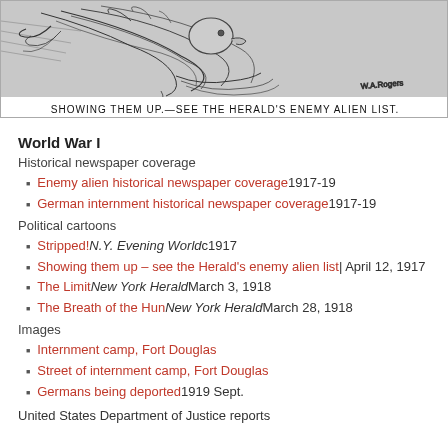[Figure (illustration): Black and white sketch/cartoon image of an eagle or bird with dramatic line strokes, with caption 'SHOWING THEM UP.—SEE THE HERALD'S ENEMY ALIEN LIST.' at the bottom]
World War I
Historical newspaper coverage
Enemy alien historical newspaper coverage 1917-19
German internment historical newspaper coverage 1917-19
Political cartoons
Stripped! N.Y. Evening World c1917
Showing them up – see the Herald's enemy alien list | April 12, 1917
The Limit New York Herald March 3, 1918
The Breath of the Hun New York Herald March 28, 1918
Images
Internment camp, Fort Douglas
Street of internment camp, Fort Douglas
Germans being deported 1919 Sept.
United States Department of Justice reports